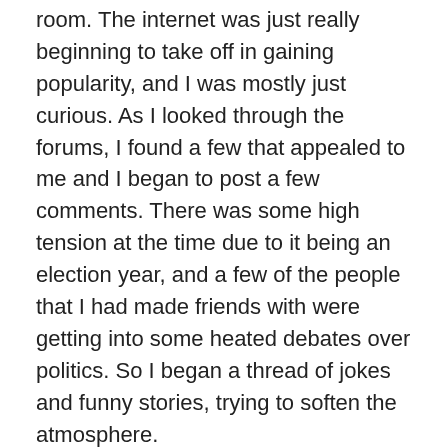room. The internet was just really beginning to take off in gaining popularity, and I was mostly just curious. As I looked through the forums, I found a few that appealed to me and I began to post a few comments. There was some high tension at the time due to it being an election year, and a few of the people that I had made friends with were getting into some heated debates over politics. So I began a thread of jokes and funny stories, trying to soften the atmosphere.
The response I received took me by surprise, and I soon found that I was being encouraged to consider becoming a writer. There were 3 published authors in the group, all considerably older than I was, and I felt completely out of my league among them. But, nevertheless, they continued to push and encourage me to consider following through in